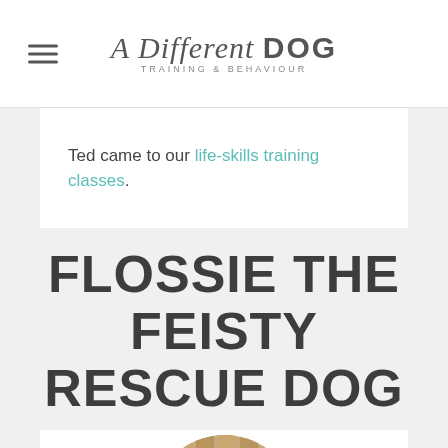A Different DOG TRAINING & BEHAVIOUR
Ted came to our life-skills training classes.
FLOSSIE THE FEISTY RESCUE DOG
[Figure (photo): Circular cropped photo of a dog (appears to be a Jack Russell or similar breed) looking upward, set against a wooden background. The image is displayed in a circular frame.]